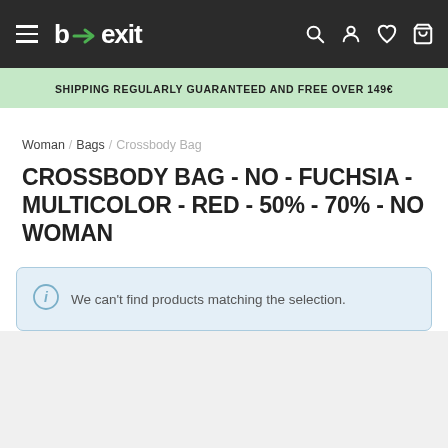b→exit [navigation bar with hamburger menu, search, account, wishlist, cart icons]
SHIPPING REGULARLY GUARANTEED AND FREE OVER 149€
Woman / Bags / Crossbody Bag
CROSSBODY BAG - NO - FUCHSIA - MULTICOLOR - RED - 50% - 70% - NO WOMAN
We can't find products matching the selection.